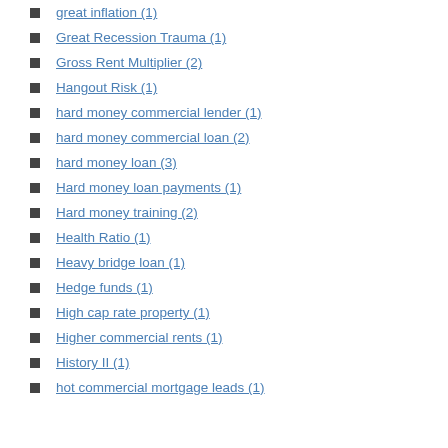great inflation (1)
Great Recession Trauma (1)
Gross Rent Multiplier (2)
Hangout Risk (1)
hard money commercial lender (1)
hard money commercial loan (2)
hard money loan (3)
Hard money loan payments (1)
Hard money training (2)
Health Ratio (1)
Heavy bridge loan (1)
Hedge funds (1)
High cap rate property (1)
Higher commercial rents (1)
History II (1)
hot commercial mortgage leads (1)